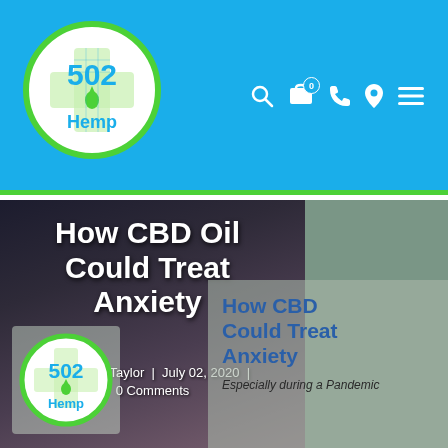[Figure (logo): 502 Hemp logo - white circle with green border, blue cross symbol and hemp drop, text '502 Hemp']
502 Hemp website header with navigation icons: search, cart (0), phone, location, menu
How CBD Oil Could Treat Anxiety
Dee Dee Taylor  |  July 02, 2020  |  0 Comments
[Figure (screenshot): Overlay card showing 'How CBD Could Treat Anxiety' in blue text with subtitle 'Especially during a Pandemic']
[Figure (logo): 502 Hemp small logo watermark bottom left of content area]